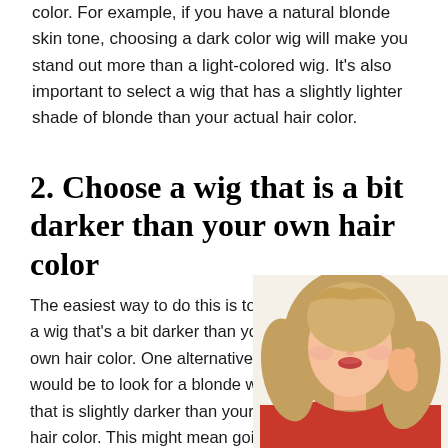color. For example, if you have a natural blonde skin tone, choosing a dark color wig will make you stand out more than a light-colored wig. It's also important to select a wig that has a slightly lighter shade of blonde than your actual hair color.
2. Choose a wig that is a bit darker than your own hair color
The easiest way to do this is to pick a wig that's a bit darker than your own hair color. One alternative would be to look for a blonde wig that is slightly darker than your own hair color. This might mean going to a
[Figure (photo): Photo of a blonde woman wearing a red top, touching her hair, used to illustrate wig selection advice]